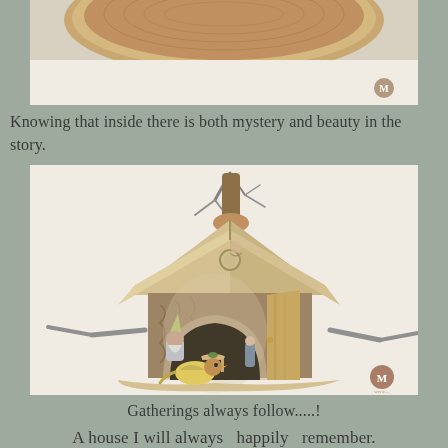[Figure (photo): Top portion of a wooden fairy house or decorative wooden object, cropped, showing curved wooden forms with a watermark/logo in the bottom right corner]
Knowing that inside there is both mystery and beauty in the story.
[Figure (photo): A handcrafted wooden fairy house with a natural wood roof, tree branches on top, a round window, open door revealing miniature interior with table and figurine, and a painted wooden bird and gnome figure in front. Watermark logo in bottom right corner.]
Gatherings always follow.....!
A house I will always  happily  remember.